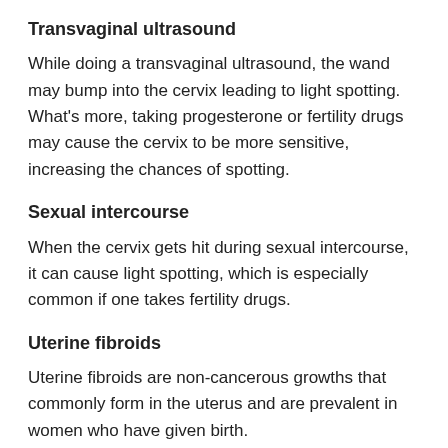Transvaginal ultrasound
While doing a transvaginal ultrasound, the wand may bump into the cervix leading to light spotting. What's more, taking progesterone or fertility drugs may cause the cervix to be more sensitive, increasing the chances of spotting.
Sexual intercourse
When the cervix gets hit during sexual intercourse, it can cause light spotting, which is especially common if one takes fertility drugs.
Uterine fibroids
Uterine fibroids are non-cancerous growths that commonly form in the uterus and are prevalent in women who have given birth.
Fertility drug side effects